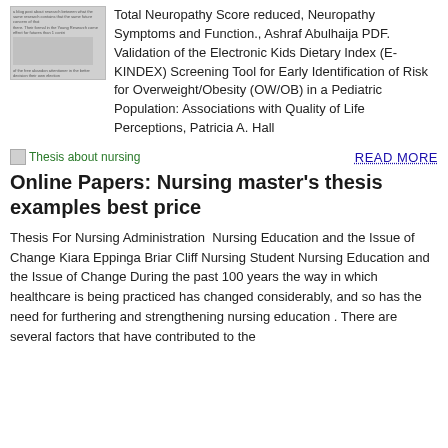[Figure (photo): Small thumbnail image of a document page with text, shown as a gray placeholder box]
Total Neuropathy Score reduced, Neuropathy Symptoms and Function., Ashraf Abulhaija PDF. Validation of the Electronic Kids Dietary Index (E-KINDEX) Screening Tool for Early Identification of Risk for Overweight/Obesity (OW/OB) in a Pediatric Population: Associations with Quality of Life Perceptions, Patricia A. Hall
[Figure (other): Small icon image labeled 'Thesis about nursing']
READ MORE
Online Papers: Nursing master's thesis examples best price
Thesis For Nursing Administration  Nursing Education and the Issue of Change Kiara Eppinga Briar Cliff Nursing Student Nursing Education and the Issue of Change During the past 100 years the way in which healthcare is being practiced has changed considerably, and so has the need for furthering and strengthening nursing education . There are several factors that have contributed to the